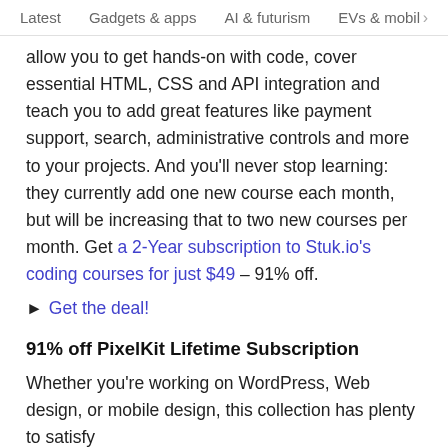Latest   Gadgets & apps   AI & futurism   EVs & mobil  >
allow you to get hands-on with code, cover essential HTML, CSS and API integration and teach you to add great features like payment support, search, administrative controls and more to your projects. And you'll never stop learning: they currently add one new course each month, but will be increasing that to two new courses per month. Get a 2-Year subscription to Stuk.io's coding courses for just $49 – 91% off.
► Get the deal!
91% off PixelKit Lifetime Subscription
Whether you're working on WordPress, Web design, or mobile design, this collection has plenty to satisfy